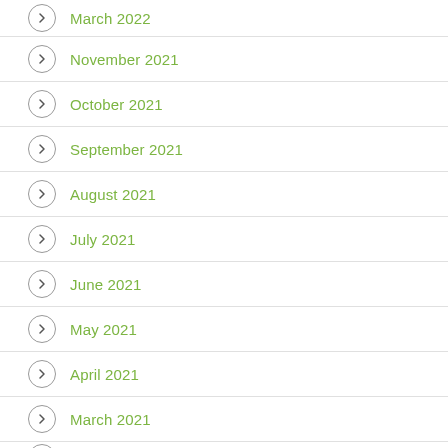March 2022
November 2021
October 2021
September 2021
August 2021
July 2021
June 2021
May 2021
April 2021
March 2021